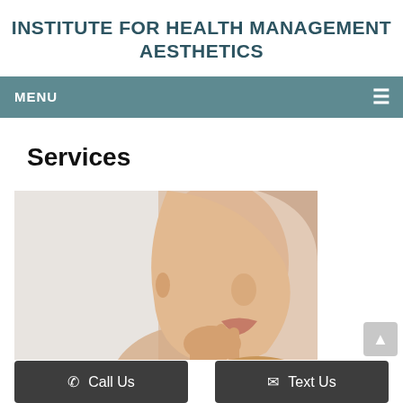INSTITUTE FOR HEALTH MANAGEMENT AESTHETICS
MENU ≡
Services
[Figure (photo): A woman with clear skin touching her face gently against a light background, used as an aesthetic services promotional image.]